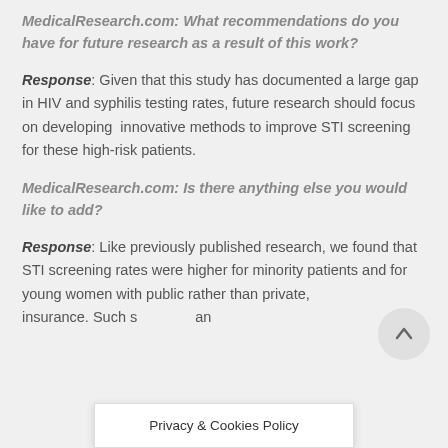MedicalResearch.com: What recommendations do you have for future research as a result of this work?
Response: Given that this study has documented a large gap in HIV and syphilis testing rates, future research should focus on developing  innovative methods to improve STI screening for these high-risk patients.
MedicalResearch.com: Is there anything else you would like to add?
Response: Like previously published research, we found that STI screening rates were higher for minority patients and for young women with public rather than private, insurance. Such s... an
[Figure (other): Scroll-to-top button: circular grey button with upward arrow]
Privacy & Cookies Policy